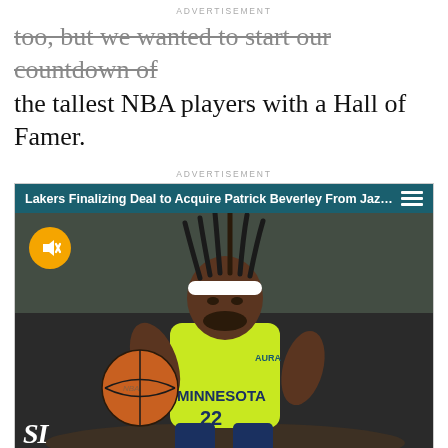too, but we wanted to start our countdown of the tallest NBA players with a Hall of Famer.
[Figure (screenshot): Video advertisement banner with teal header reading 'Lakers Finalizing Deal to Acquire Patrick Beverley From Jazz, p...' with hamburger menu icon, and video frame showing NBA player in Minnesota Timberwolves lime green jersey holding a basketball, wearing white headband. SI logo visible at bottom left. Mute button shown as yellow/orange circle with speaker icon.]